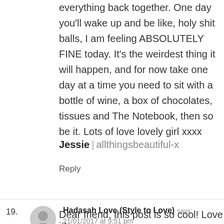everything back together. One day you'll wake up and be like, holy shit balls, I am feeling ABSOLUTELY FINE today. It's the weirdest thing it will happen, and for now take one day at a time you need to sit with a bottle of wine, a box of chocolates, tissues and The Notebook, then so be it. Lots of love lovely girl xxxx
Jessie | allthingsbeautiful-x
Reply
19. Hadasah Love (Style to Love) says: 21/01/2017 at 9:51 pm
Dear friend, this post is so cool! Love it!